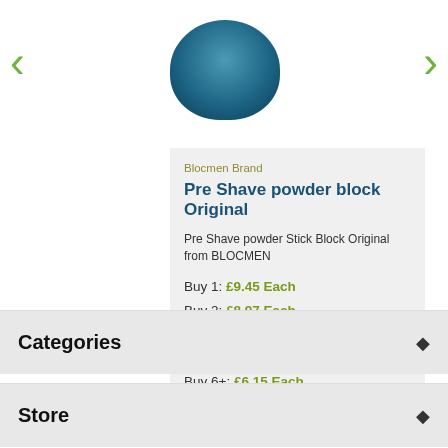[Figure (photo): Top portion of a product tin/container with blue lid, partially visible at the top]
Blocmen Brand
Pre Shave powder block Original
Pre Shave powder Stick Block Original from BLOCMEN
Buy 1: £9.45 Each
Buy 2: £8.97 Each
Buy 3: £7.65 Each
Buy 5: £6.59 Each
Buy 6+: £6.15 Each
24 In Stock
Categories
Store